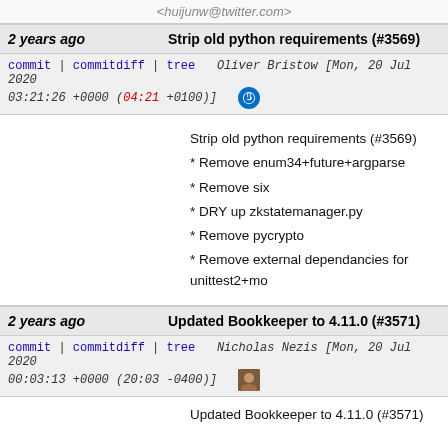<huijunw@twitter.com>
2 years ago | Strip old python requirements (#3569)
commit | commitdiff | tree  Oliver Bristow [Mon, 20 Jul 2020 03:21:26 +0000 (04:21 +0100)]
Strip old python requirements (#3569)
* Remove enum34+future+argparse
* Remove six
* DRY up zkstatemanager.py
* Remove pycrypto
* Remove external dependancies for unittest2+mo
2 years ago | Updated Bookkeeper to 4.11.0 (#3571)
commit | commitdiff | tree  Nicholas Nezis [Mon, 20 Jul 2020 00:03:13 +0000 (20:03 -0400)]
Updated Bookkeeper to 4.11.0 (#3571)
2 years ago | Add Ant dependency to Vagrant machine (#3573)